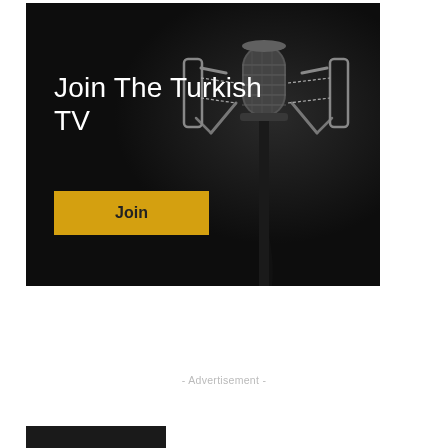[Figure (illustration): Dark advertisement banner with black background showing a professional studio microphone on a stand, mounted in a shock mount. White text reads 'Join The Turkish TV' on the left side. A yellow/gold rectangular button with bold text 'Join' appears below the heading.]
- Advertisement -